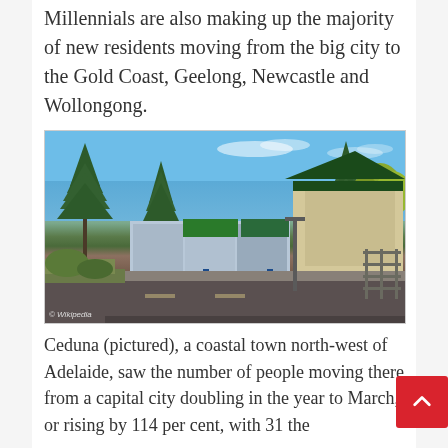Millennials are also making up the majority of new residents moving from the big city to the Gold Coast, Geelong, Newcastle and Wollongong.
[Figure (photo): Street-level photo of Ceduna, showing a retail strip with Norfolk Island pine trees, shops including what appears to be a Foodland, blue steel bollards, a road, and a clear blue sky. Wikipedia watermark in the bottom-left corner.]
© Wikipedia
Ceduna (pictured), a coastal town north-west of Adelaide, saw the number of people moving there from a capital city doubling in the year to March, or rising by 114 per cent, with 31 the